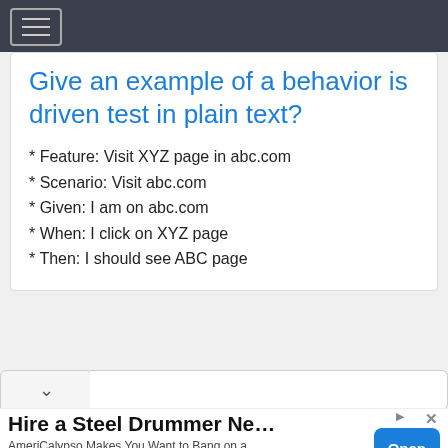Give an example of a behavior is driven test in plain text?
* Feature: Visit XYZ page in abc.com
* Scenario: Visit abc.com
* Given: I am on abc.com
* When: I click on XYZ page
* Then: I should see ABC page
Hire a Steel Drummer Near Me
AmeriCalypso Makes You Want to Bang on a Bongo and Jump in the Conga Line! AmeriCalypso